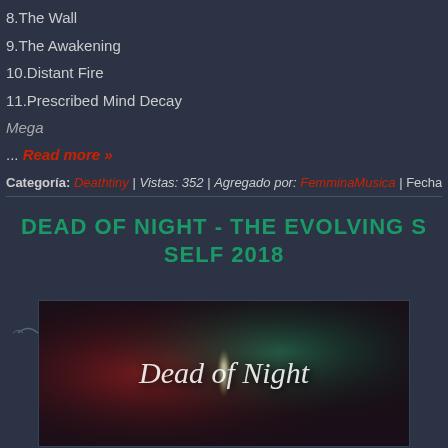8.The Wall
9.The Awakening
10.Distant Fire
11.Prescribed Mind Decay
Mega
... Read more »
Categoría: Deathtiny | Vistas: 352 | Agregado por: FemminaMusica | Fecha: 03.
DEAD OF NIGHT - THE EVOLVING S SELF 2018
[Figure (photo): Album cover for Dead of Night - The Evolving Self 2018, showing a dark atmospheric image with red and teal tones featuring a bright light source and the text 'Dead of Night' in white italic script]